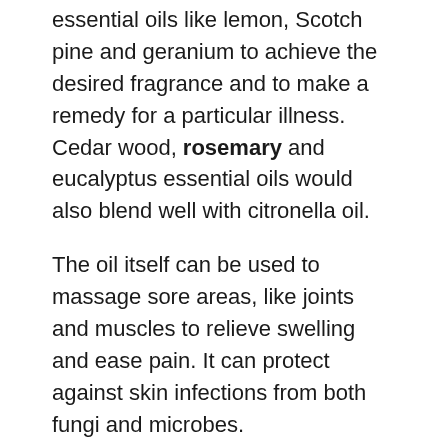essential oils like lemon, Scotch pine and geranium to achieve the desired fragrance and to make a remedy for a particular illness. Cedar wood, rosemary and eucalyptus essential oils would also blend well with citronella oil.
The oil itself can be used to massage sore areas, like joints and muscles to relieve swelling and ease pain. It can protect against skin infections from both fungi and microbes.
Citronella oil has many health benefits, especially when used in aromatherapy. Cheap, easy to obtain and versatile, citronella oil is a very good choice when it comes to aromatherapy. Its various other uses make it a beneficial asset in any household.